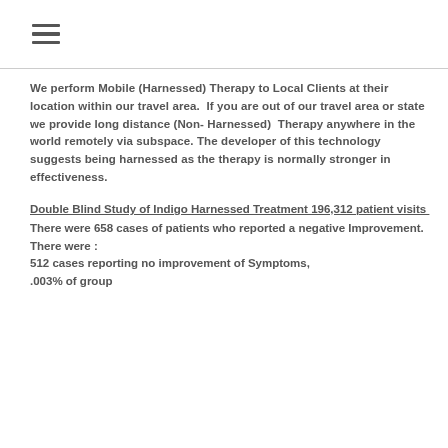≡
We perform Mobile (Harnessed) Therapy to Local Clients at their location within our travel area.  If you are out of our travel area or state we provide long distance (Non- Harnessed)  Therapy anywhere in the world remotely via subspace. The developer of this technology suggests being harnessed as the therapy is normally stronger in effectiveness.
Double Blind Study of Indigo Harnessed Treatment 196,312 patient visits
There were 658 cases of patients who reported a negative Improvement.
There were :
512 cases reporting no improvement of Symptoms, .003% of group